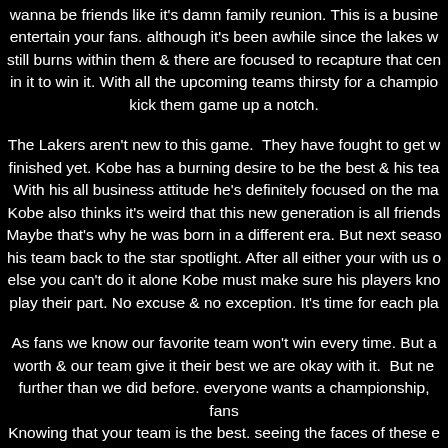wanna be friends like it's damn family reunion. This is a business, entertain your fans. although it's been awhile since the lakes w... still burns within them & there are focused to recapture that cen... in it to win it. With all the upcoming teams thirsty for a champio... kick them game up a notch.
The Lakers aren't new to this game. They have fought to get w... finished yet. Kobe has a burning desire to be the best & his tea... With his all business attitude he's definitely focused on the ma... Kobe also thinks it's weird that this new generation is all friends... Maybe that's why he was born in a different era. But next seaso... his team back to the star spotlight. After all either your with us o... else you can't do it alone Kobe must make sure his players kno... play their part. No excuse & no exception. It's time for each pl...
As fans we know our favorite team won't win every time. But a... worth & our team give it their best we are okay with it. But ne... further than we did before. everyone wants a championship, fans... Knowing that your team is the best. seeing the faces of these e... team in their face is a great feeling. bragging about your team u... see how Kobe motivates his team & moves forward...